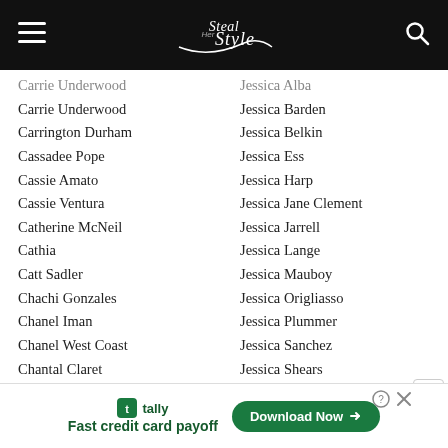Steal Her Style — navigation header
Carrie Underwood
Carrington Durham
Cassadee Pope
Cassie Amato
Cassie Ventura
Catherine McNeil
Cathia
Catt Sadler
Chachi Gonzales
Chanel Iman
Chanel West Coast
Chantal Claret
Chantel Jeffries
Chantelle Connelly
Charisma Carpenter
Charity Hill-Gant
Charli Baltimore
Charli D'Amelio
Charli XCX
Jessica Alba
Jessica Barden
Jessica Belkin
Jessica Ess
Jessica Harp
Jessica Jane Clement
Jessica Jarrell
Jessica Lange
Jessica Mauboy
Jessica Origliasso
Jessica Plummer
Jessica Sanchez
Jessica Shears
Jessica Stroup
Jessica Sutta
Jessica Szohr
Jessica White
Jessie J
Jessie James Decker
Jessie Malakouti
Tally ad — Fast credit card payoff — Download Now